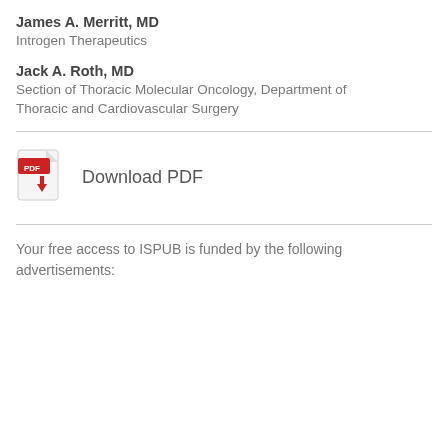James A. Merritt, MD
Introgen Therapeutics
Jack A. Roth, MD
Section of Thoracic Molecular Oncology, Department of Thoracic and Cardiovascular Surgery
[Figure (illustration): PDF file icon with red download arrow, next to 'Download PDF' text link]
Your free access to ISPUB is funded by the following advertisements: